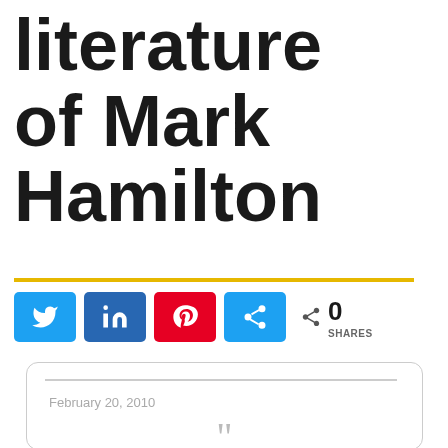literature of Mark Hamilton
[Figure (infographic): Social share buttons: Twitter (blue), LinkedIn (dark blue), Pinterest (red), Koo (blue), with share count showing 0 SHARES]
[Figure (other): Quote card with horizontal rule, date February 20 2010, large quotation marks, and bottom social share buttons]